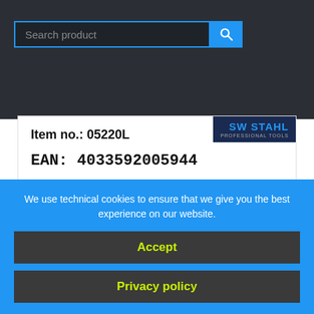[Figure (screenshot): Search product input field with blue search button]
Item no.: 05220L
EAN: 4033592005944
DETAILS
Similar items
We use technical cookies to ensure that we give you the best experience on our website.
Accept
Privacy policy